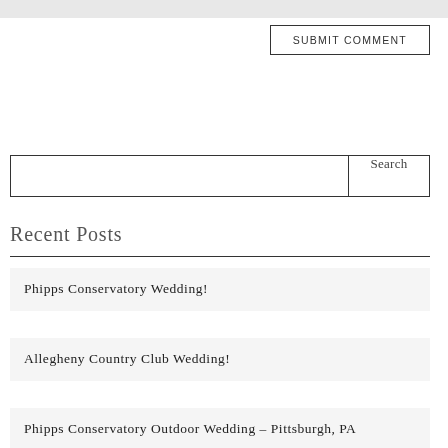[Figure (other): Gray horizontal bar at the top of the page, partial form element]
SUBMIT COMMENT
[Figure (other): Search input box with Search button]
Recent Posts
Phipps Conservatory Wedding!
Allegheny Country Club Wedding!
Phipps Conservatory Outdoor Wedding – Pittsburgh, PA